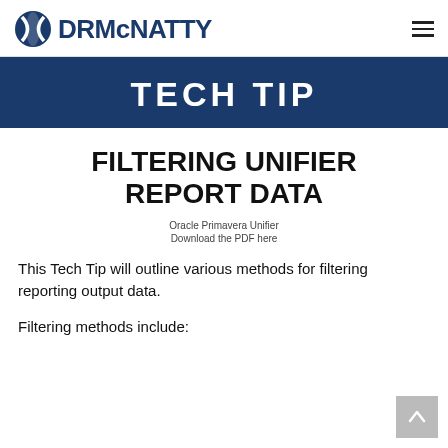DRMcNATTY
TECH TIP
FILTERING UNIFIER REPORT DATA
Oracle Primavera Unifier
Download the PDF here
This Tech Tip will outline various methods for filtering reporting output data.
Filtering methods include: